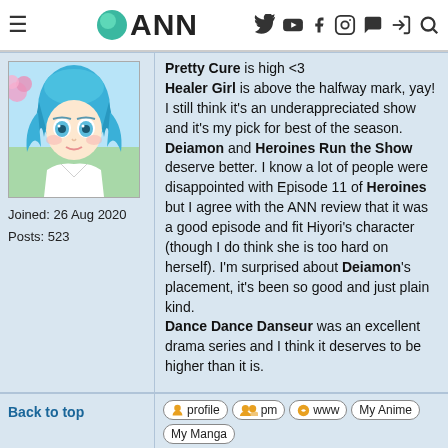ANN
[Figure (illustration): Anime character with blue hair, avatar portrait]
Joined: 26 Aug 2020
Posts: 523
Pretty Cure is high <3
Healer Girl is above the halfway mark, yay! I still think it's an underappreciated show and it's my pick for best of the season.
Deiamon and Heroines Run the Show deserve better. I know a lot of people were disappointed with Episode 11 of Heroines but I agree with the ANN review that it was a good episode and fit Hiyori's character (though I do think she is too hard on herself). I'm surprised about Deiamon's placement, it's been so good and just plain kind.
Dance Dance Danseur was an excellent drama series and I think it deserves to be higher than it is.
Back to top
profile  pm  www  My Anime  My Manga